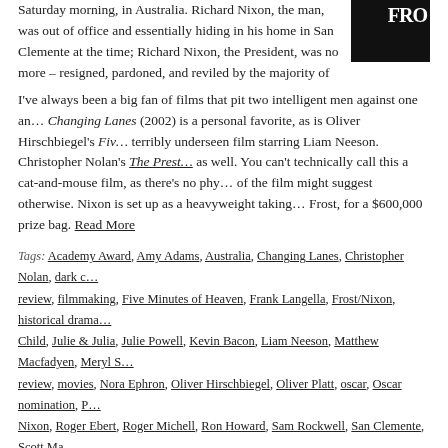Saturday morning, in Australia. Richard Nixon, the man, was out of office and essentially hiding in his home in San Clemente at the time; Richard Nixon, the President, was no more – resigned, pardoned, and reviled by the majority of
I've always been a big fan of films that pit two intelligent men against one another. Changing Lanes (2002) is a personal favorite, as is Oliver Hirschbiegel's Five Minutes of Heaven, a terribly underseen film starring Liam Neeson. Christopher Nolan's The Prestige fits as well. You can't technically call this a cat-and-mouse film, as there's no physical chase; the title of the film might suggest otherwise. Nixon is set up as a heavyweight taking on a challenger in Frost, for a $600,000 prize bag. Read More
Tags: Academy Award, Amy Adams, Australia, Changing Lanes, Christopher Nolan, dark comedy review, filmmaking, Five Minutes of Heaven, Frank Langella, Frost/Nixon, historical drama, Julia Child, Julie & Julia, Julie Powell, Kevin Bacon, Liam Neeson, Matthew Macfadyen, Meryl Streep review, movies, Nora Ephron, Oliver Hirschbiegel, Oliver Platt, oscar, Oscar nomination, P... Nixon, Roger Ebert, Roger Michell, Ron Howard, Sam Rockwell, San Clemente, Scott Ma... Tricky Dick, Universal Pictures, Watergate
Friday The 13th (1980) – Everybody Look Forward To The Weekend
Posted 03 Jul 2011 — by contributor